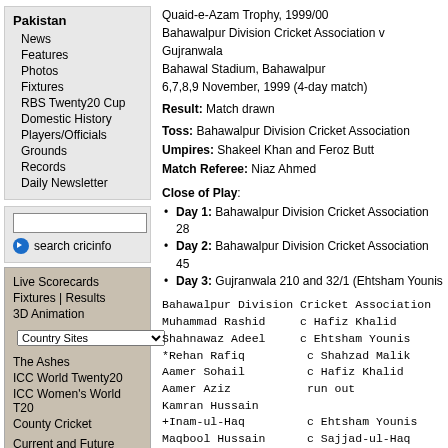Pakistan
News
Features
Photos
Fixtures
RBS Twenty20 Cup
Domestic History
Players/Officials
Grounds
Records
Daily Newsletter
search cricinfo
Live Scorecards
Fixtures | Results
3D Animation
The Ashes
ICC World Twenty20
ICC Women's World T20
County Cricket
Current and Future Tours
Match/series archive
News
Photos | Wallpapers
Quaid-e-Azam Trophy, 1999/00
Bahawalpur Division Cricket Association v Gujranwala
Bahawal Stadium, Bahawalpur
6,7,8,9 November, 1999 (4-day match)
Result: Match drawn
Toss: Bahawalpur Division Cricket Association
Umpires: Shakeel Khan and Feroz Butt
Match Referee: Niaz Ahmed
Close of Play:
Day 1: Bahawalpur Division Cricket Association 28
Day 2: Bahawalpur Division Cricket Association 45
Day 3: Gujranwala 210 and 32/1 (Ehtsham Younis
Bahawalpur Division Cricket Association
Muhammad Rashid     c Hafiz Khalid
Shahnawaz Adeel     c Ehtsham Younis
*Rehan Rafiq        c Shahzad Malik
Aamer Sohail        c Hafiz Khalid
Aamer Aziz          run out
Kamran Hussain
+Inam-ul-Haq        c Ehtsham Younis
Maqbool Hussain     c Sajjad-ul-Haq
Faisal Elahi
Amjad Jam           c Muhammad Shoaib
Farooq Hameed       not out
Extras              (b 8, lb 3, w 0,
Total               (all out, 139.1 o